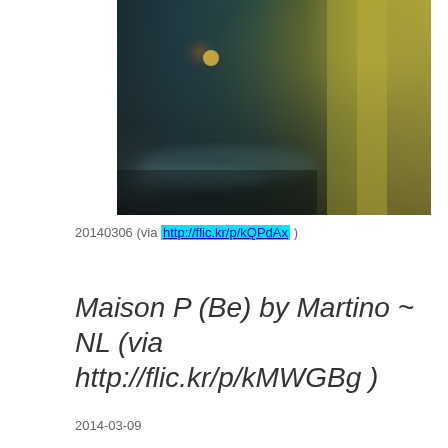[Figure (photo): Blurry, abstract photograph with dark teal/blue tones on the left and warm yellow/olive tones on the right. There appears to be a small flame or light source in the upper left area. The image is heavily blurred and atmospheric.]
20140306 (via http://flic.kr/p/kQPdAx )
Maison P (Be) by Martino ~ NL (via http://flic.kr/p/kMWGBg )
2014-03-09